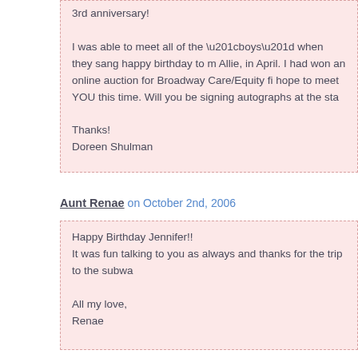3rd anniversary!

I was able to meet all of the “boys” when they sang happy birthday to m Allie, in April. I had won an online auction for Broadway Care/Equity fi hope to meet YOU this time. Will you be signing autographs at the sta

Thanks!
Doreen Shulman
Aunt Renae on October 2nd, 2006
Happy Birthday Jennifer!!
It was fun talking to you as always and thanks for the trip to the subwa
All my love,
Renae
Jess on October 5th, 2006
Hey! Wow, what an awesome site/sight! Luv you!